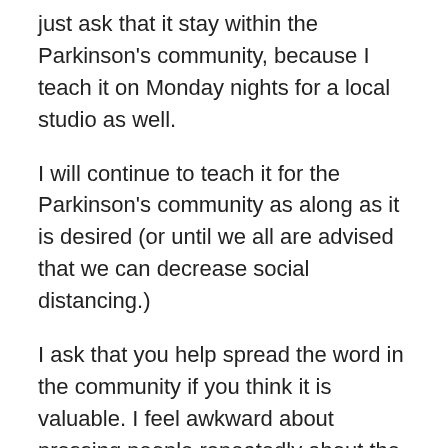just ask that it stay within the Parkinson's community, because I teach it on Monday nights for a local studio as well.
I will continue to teach it for the Parkinson's community as along as it is desired (or until we all are advised that we can decrease social distancing.)
I ask that you help spread the word in the community if you think it is valuable. I feel awkward about pressing people repeatedly about the practice—I have no wish to clutter inboxes repeatedly about this offering—I am not trying to market it. It's free. I'm just trying to offer it.
If there are questions about the practice, here is some info:
Yoga Nidra is guided meditation practice that is